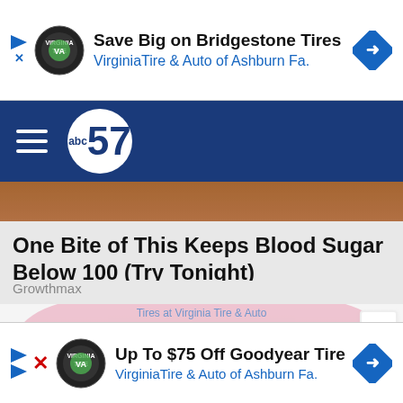[Figure (screenshot): Top advertisement banner: Save Big on Bridgestone Tires - Virginia Tire & Auto of Ashburn Fa.]
[Figure (logo): ABC57 navigation bar with hamburger menu and ABC57 logo on dark blue background]
[Figure (photo): Partial image strip showing brown/tan background, top of article]
One Bite of This Keeps Blood Sugar Below 100 (Try Tonight)
Growthmax
[Figure (photo): Photo of person wearing red/pink long-sleeve top and blue jeans, hands clasped together at waist level]
[Figure (screenshot): Bottom advertisement banner: Up To $75 Off Goodyear Tires - Virginia Tire & Auto of Ashburn Fa.]